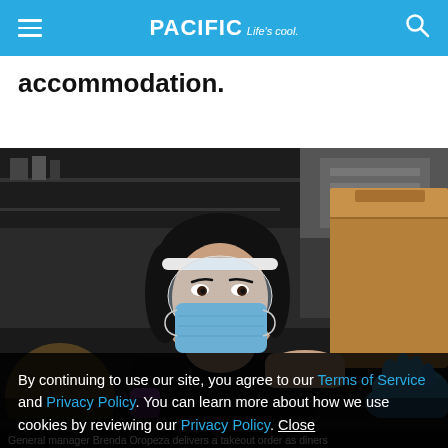PACIFIC Life's cool.
accommodation.
[Figure (photo): A woman wearing a face shield and blue surgical mask, dressed in a black shirt, handles a brown paper takeout bag in a restaurant kitchen. She is wearing blue latex gloves. The background shows kitchen shelving and equipment.]
By continuing to use our site, you agree to our Terms of Service and Privacy Policy. You can learn more about how we use cookies by reviewing our Privacy Policy. Close
General manager Brenda Oropeza delivers a takeout order as diners ...